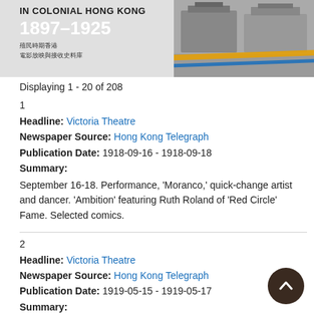[Figure (illustration): Banner image for 'Cinema and Film Reception in Colonial Hong Kong 1897-1925' with Chinese subtitle text, historical photo of buildings, and decorative colored stripes]
Displaying 1 - 20 of 208
1
Headline: Victoria Theatre
Newspaper Source: Hong Kong Telegraph
Publication Date: 1918-09-16 - 1918-09-18
Summary:
September 16-18. Performance, 'Moranco,' quick-change artist and dancer. 'Ambition' featuring Ruth Roland of 'Red Circle' Fame. Selected comics.
2
Headline: Victoria Theatre
Newspaper Source: Hong Kong Telegraph
Publication Date: 1919-05-15 - 1919-05-17
Summary:
Beautiful Ruth Roland in a new Pathe serial 'Hands Up.' A Beautiful Heroine, 'The Phantom Riders,' 'The Bride of the Sun.' Don't Miss